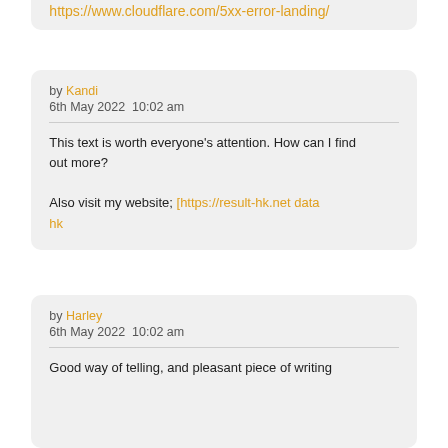https://www.cloudflare.com/5xx-error-landing/
by Kandi
6th May 2022 10:02 am
This text is worth everyone's attention. How can I find out more?

Also visit my website; [https://result-hk.net data hk
by Harley
6th May 2022 10:02 am
Good way of telling, and pleasant piece of writing